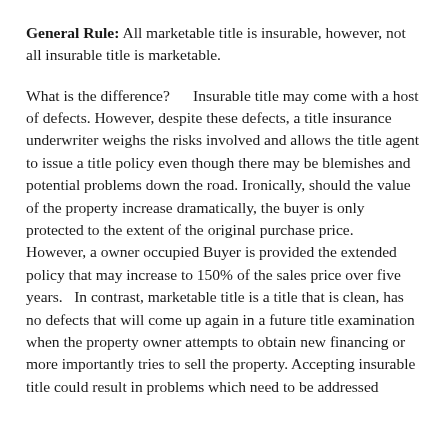General Rule:  All marketable title is insurable, however, not all insurable title is marketable.
What is the difference?      Insurable title may come with a host of defects.  However, despite these defects, a title insurance underwriter weighs the risks involved and allows the title agent to issue a title policy even though there may be blemishes and potential problems down the road.  Ironically, should the value of the property increase dramatically, the buyer is only protected to the extent of the original purchase price.   However, a owner occupied Buyer is provided the extended policy that may increase to 150% of the sales price over five years.   In contrast, marketable title is a title that is clean, has no defects that will come up again in a future title examination when the property owner attempts to obtain new financing or more importantly tries to sell the property.  Accepting insurable title could result in problems which need to be addressed